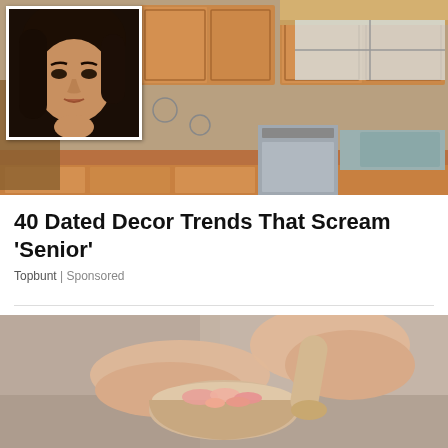[Figure (photo): Kitchen interior with wooden cabinets and countertops; inset portrait of a woman with long dark hair looking serious]
40 Dated Decor Trends That Scream 'Senior'
Topbunt | Sponsored
[Figure (photo): Close-up of hands using a mortar and pestle with pink/red contents, blurred background]